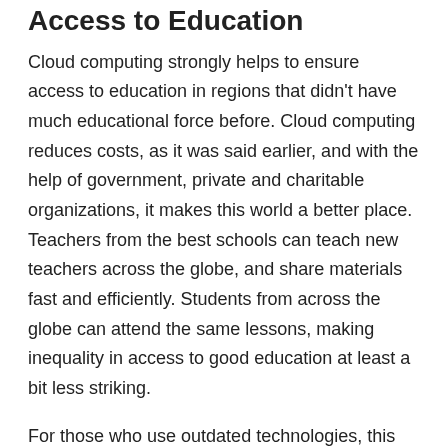Access to Education
Cloud computing strongly helps to ensure access to education in regions that didn't have much educational force before. Cloud computing reduces costs, as it was said earlier, and with the help of government, private and charitable organizations, it makes this world a better place. Teachers from the best schools can teach new teachers across the globe, and share materials fast and efficiently. Students from across the globe can attend the same lessons, making inequality in access to good education at least a bit less striking.
For those who use outdated technologies, this step seems hard and almost impossible, but it's worth it. Cloud computing fastly becoming a standard in